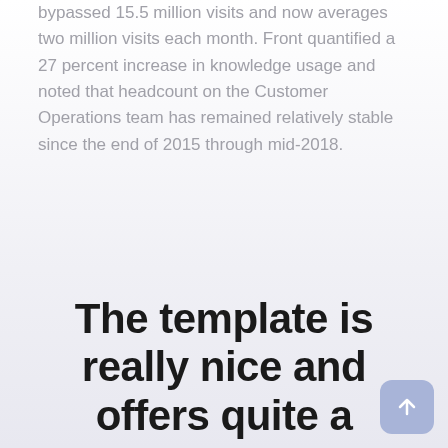bypassed 15.5 million visits and now averages two million visits each month. Front quantified a 27 percent increase in knowledge usage and noted that headcount on the Customer Operations team has remained relatively stable since the end of 2015 through mid-2018.
The template is really nice and offers quite a